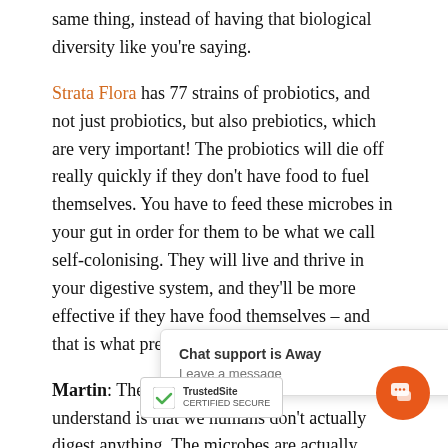same thing, instead of having that biological diversity like you're saying.
Strata Flora has 77 strains of probiotics, and not just probiotics, but also prebiotics, which are very important! The probiotics will die off really quickly if they don't have food to fuel themselves. You have to feed these microbes in your gut in order for them to be what we call self-colonising. They will live and thrive in your digestive system, and they'll be more effective if they have food themselves – and that is what prebiotics are for.
Martin: The important part for us to understand is that we humans don't actually digest anything. The microbes are actually taking apart the food we eat, and what they process is what we a[bsorb. Ho]necessit[y, that ha]s [body get] it. It